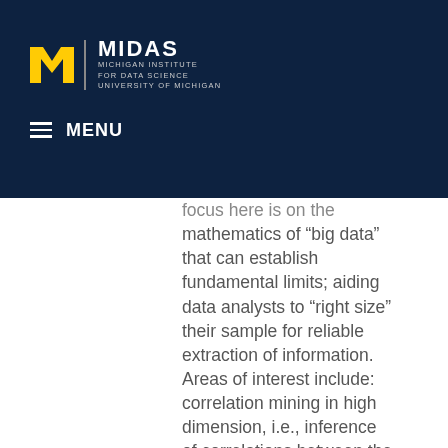[Figure (logo): MIDAS Michigan Institute for Data Science, University of Michigan logo with yellow M block letter on dark navy background]
≡ MENU
focus here is on the mathematics of “big data” that can establish fundamental limits; aiding data analysts to “right size” their sample for reliable extraction of information. Areas of interest include: correlation mining in high dimension, i.e., inference of correlations between the behaviors of multiple agents from limited statistical samples, and dimensionality reduction